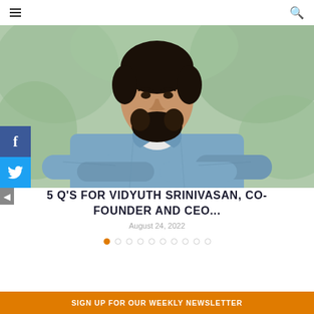Navigation bar with hamburger menu and search icon
[Figure (photo): Close-up photo of a bearded man in a blue denim shirt with arms crossed, blurred green background]
5 Q'S FOR VIDYUTH SRINIVASAN, CO-FOUNDER AND CEO...
August 24, 2022
[Figure (infographic): Carousel dot indicators — 10 dots, first one filled orange, rest outlined grey]
SIGN UP FOR OUR WEEKLY NEWSLETTER